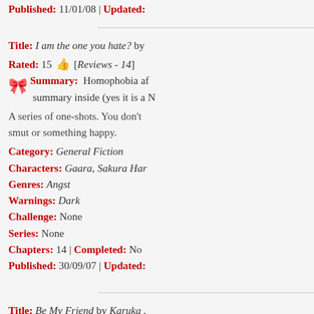Published: 11/01/08 | Updated:
Title: I am the one you hate? by ... Rated: 15 [Reviews - 14] Summary: Homophobia af... summary inside (yes it is a N... A series of one-shots. You don't... smut or something happy. Category: General Fiction Characters: Gaara, Sakura Har... Genres: Angst Warnings: Dark Challenge: None Series: None Chapters: 14 | Completed: No Published: 30/09/07 | Updated:
Title: Be My Friend by Karuka... Rated: [Reviews - 11] Summary: The White Fang's s... Kakashi and Iruka as they grow... Category: General Fiction Characters: